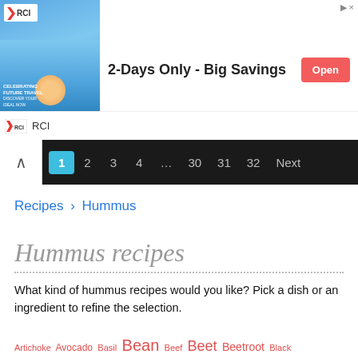[Figure (other): RCI travel advertisement banner showing 'Celebrating Future Travel' with photo of person in pool, headline '2-Days Only - Big Savings', and an orange 'Open' button]
1  2  3  4  ...  30  31  32  Next
Recipes › Hummus
Hummus recipes
What kind of hummus recipes would you like? Pick a dish or an ingredient to refine the selection.
Artichoke Avocado Basil Bean Beef Beet Beetroot Black Carrot Ceci Cheese Chicken Chickpea Chip Dip Edamame Falafel Feta Garlic Gluten Free Greens Healthy Lamb Lemon Mint Nut Olive Pea Pepper Pine Red...